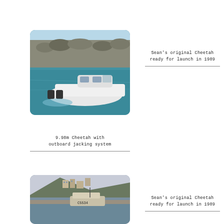[Figure (photo): A white catamaran boat with outboard motors, moving through turquoise water near a rocky breakwater]
Sean's original Cheetah ready for launch in 1989
9.98m Cheetah with outboard jacking system
[Figure (photo): A boat with registration C5534 at a harbourside, with hillside buildings in the background]
Sean's original Cheetah ready for launch in 1989